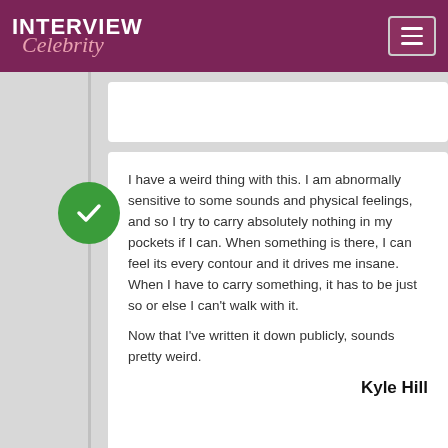INTERVIEW Celebrity
I have a weird thing with this. I am abnormally sensitive to some sounds and physical feelings, and so I try to carry absolutely nothing in my pockets if I can. When something is there, I can feel its every contour and it drives me insane. When I have to carry something, it has to be just so or else I can't walk with it.

Now that I've written it down publicly, sounds pretty weird.

Kyle Hill
Hi Kyle! Did you learn anything about hosting this version of Mythbusters from watching Jamie